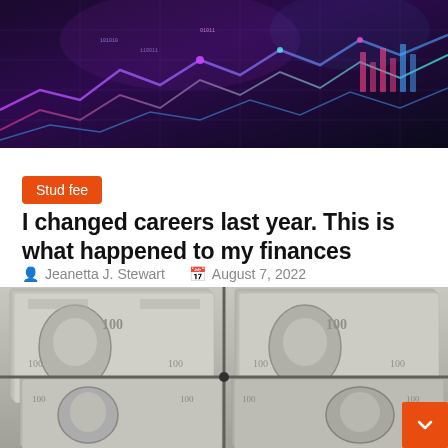[Figure (photo): Abstract digital financial background with purple and blue neon glowing lines, circuit board patterns, and data visualization elements on a dark background.]
Stud fee
I changed careers last year. This is what happened to my finances
Jeanetta J. Stewart   August 7, 2022
[Figure (photo): Close-up photograph of stacked US $100 dollar bills arranged in a grid pattern, showing Benjamin Franklin's portrait in grey tones.]